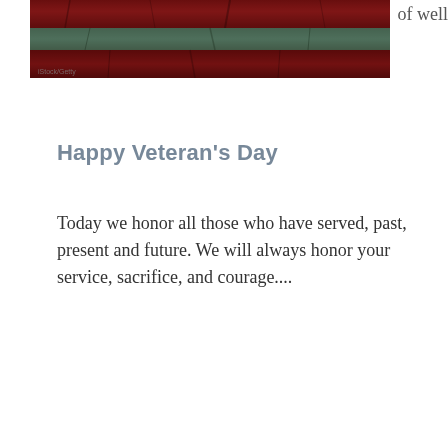[Figure (photo): A distressed American flag image with dark red and muted green/gray horizontal bands, resembling weathered metal or fabric. Small watermark text visible at bottom left.]
of well
Happy Veteran's Day
Today we honor all those who have served, past, present and future. We will always honor your service, sacrifice, and courage....